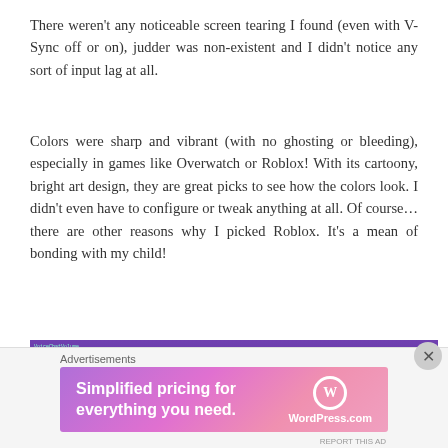There weren't any noticeable screen tearing I found (even with V-Sync off or on), judder was non-existent and I didn't notice any sort of input lag at all.
Colors were sharp and vibrant (with no ghosting or bleeding), especially in games like Overwatch or Roblox! With its cartoony, bright art design, they are great picks to see how the colors look. I didn't even have to configure or tweak anything at all. Of course… there are other reasons why I picked Roblox. It's a mean of bonding with my child!
[Figure (photo): Photo of multiple gaming monitors lit with neon blue/purple lighting, showing game screens, with text overlay on the left side]
Advertisements
[Figure (infographic): WordPress.com advertisement banner reading 'Simplified pricing for everything you need.' with WordPress.com logo on a pink/purple gradient background]